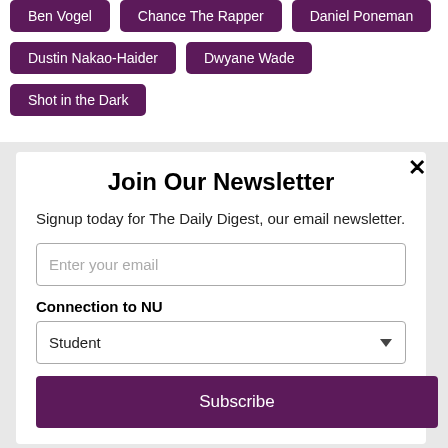Ben Vogel
Chance The Rapper
Daniel Poneman
Dustin Nakao-Haider
Dwyane Wade
Shot in the Dark
Join Our Newsletter
Signup today for The Daily Digest, our email newsletter.
Enter your email
Connection to NU
Student
Subscribe